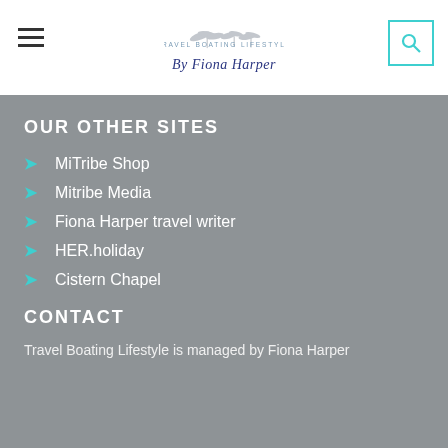TRAVEL BOATING LIFESTYLE / By Fiona Harper
OUR OTHER SITES
MiTribe Shop
Mitribe Media
Fiona Harper travel writer
HER.holiday
Cistern Chapel
CONTACT
Travel Boating Lifestyle is managed by Fiona Harper